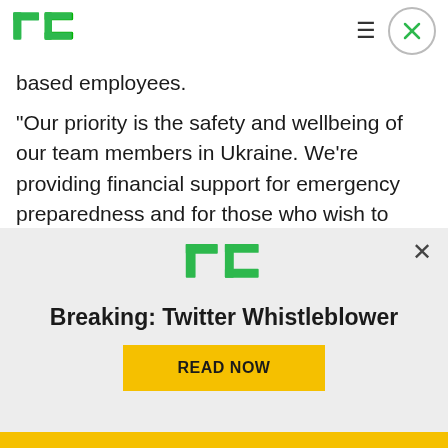TechCrunch logo and navigation
based employees.
“Our priority is the safety and wellbeing of our team members in Ukraine. We’re providing financial support for emergency preparedness and for those who wish to temporarily relocate, increased time off and additional mental health resources. We’re closely monitoring the situation and will continue to evaluate our response as necessary,” Ashley
[Figure (screenshot): TechCrunch advertisement banner showing TC logo, headline 'Breaking: Twitter Whistleblower', and a yellow 'READ NOW' button. Has a close (X) button in the top right.]